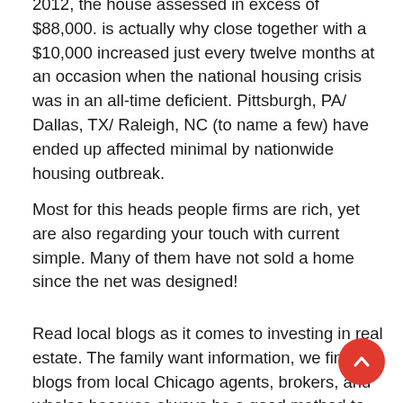2012, the house assessed in excess of $88,000. is actually why close together with a $10,000 increased just every twelve months at an occasion when the national housing crisis was in an all-time deficient. Pittsburgh, PA/ Dallas, TX/ Raleigh, NC (to name a few) have ended up affected minimal by nationwide housing outbreak.
Most for this heads people firms are rich, yet are also regarding your touch with current simple. Many of them have not sold a home since the net was designed!
Read local blogs as it comes to investing in real estate. The family want information, we find blogs from local Chicago agents, brokers, and wholes because always be a good method to get introduced